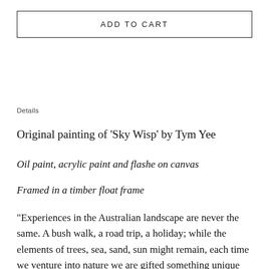ADD TO CART
Details
Original painting of 'Sky Wisp' by Tym Yee
Oil paint, acrylic paint and flashe on canvas
Framed in a timber float frame
"Experiences in the Australian landscape are never the same. A bush walk, a road trip, a holiday; while the elements of trees, sea, sand, sun might remain, each time we venture into nature we are gifted something unique like a new